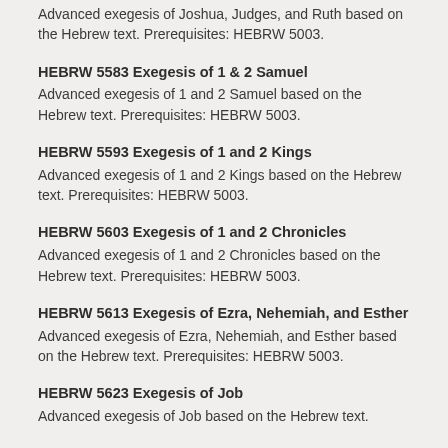Advanced exegesis of Joshua, Judges, and Ruth based on the Hebrew text. Prerequisites: HEBRW 5003.
HEBRW 5583 Exegesis of 1 & 2 Samuel
Advanced exegesis of 1 and 2 Samuel based on the Hebrew text. Prerequisites: HEBRW 5003.
HEBRW 5593 Exegesis of 1 and 2 Kings
Advanced exegesis of 1 and 2 Kings based on the Hebrew text. Prerequisites: HEBRW 5003.
HEBRW 5603 Exegesis of 1 and 2 Chronicles
Advanced exegesis of 1 and 2 Chronicles based on the Hebrew text. Prerequisites: HEBRW 5003.
HEBRW 5613 Exegesis of Ezra, Nehemiah, and Esther
Advanced exegesis of Ezra, Nehemiah, and Esther based on the Hebrew text. Prerequisites: HEBRW 5003.
HEBRW 5623 Exegesis of Job
Advanced exegesis of Job based on the Hebrew text.